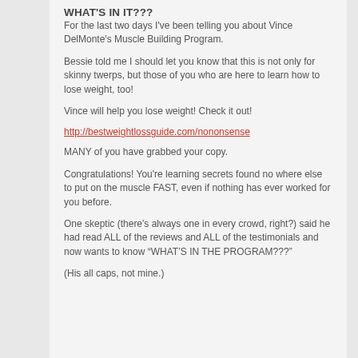WHAT'S IN IT???
For the last two days I've been telling you about Vince DelMonte's Muscle Building Program.
Bessie told me I should let you know that this is not only for skinny twerps, but those of you who are here to learn how to lose weight, too!
Vince will help you lose weight! Check it out!
http://bestweightlossguide.com/nononsense
MANY of you have grabbed your copy.
Congratulations! You're learning secrets found no where else to put on the muscle FAST, even if nothing has ever worked for you before.
One skeptic (there's always one in every crowd, right?) said he had read ALL of the reviews and ALL of the testimonials and now wants to know “WHAT’S IN THE PROGRAM???”
(His all caps, not mine.)